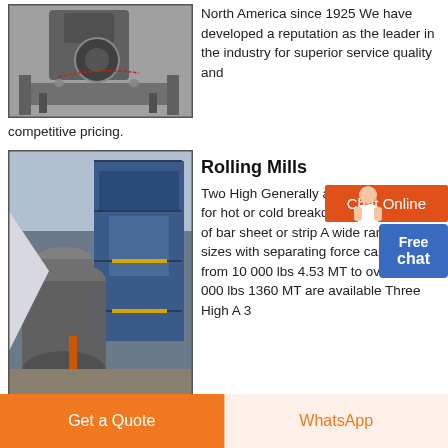[Figure (photo): Industrial grinding/crushing machine, grey metal equipment with circular components]
North America since 1925 We have developed a reputation as the leader in the industry for superior service quality and competitive pricing.
[Figure (photo): Chat Online button with orange background and a person illustration]
[Figure (photo): Industrial rolling mill facility with large vertical cylindrical equipment and blue steel structure]
Rolling Mills
Two High Generally a 2 HI mill is used for hot or cold breakdown and finishing of bar sheet or strip A wide range of sizes with separating force capacities from 10 000 lbs 4.53 MT to over 3 000 000 lbs 1360 MT are available Three High A 3
Get a Quote
WhatsApp